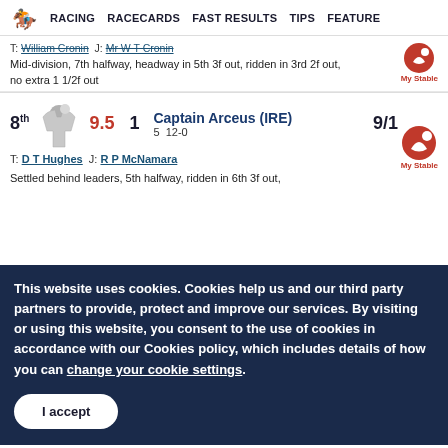RACING  RACECARDS  FAST RESULTS  TIPS  FEATURE
T: William Cronin  J: Mr W T Cronin
Mid-division, 7th halfway, headway in 5th 3f out, ridden in 3rd 2f out, no extra 1 1/2f out
8th  9.5  1  Captain Arceus (IRE)  5  12-0  9/1
T: D T Hughes  J: R P McNamara
Settled behind leaders, 5th halfway, ridden in 6th 3f out,
This website uses cookies. Cookies help us and our third party partners to provide, protect and improve our services. By visiting or using this website, you consent to the use of cookies in accordance with our Cookies policy, which includes details of how you can change your cookie settings.